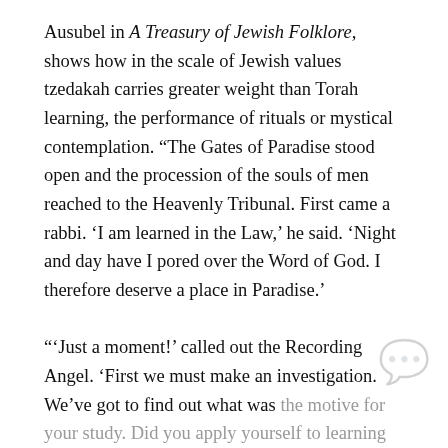Ausubel in A Treasury of Jewish Folklore, shows how in the scale of Jewish values tzedakah carries greater weight than Torah learning, the performance of rituals or mystical contemplation. “The Gates of Paradise stood open and the procession of the souls of men reached to the Heavenly Tribunal. First came a rabbi. ‘I am learned in the Law,’ he said. ‘Night and day have I pored over the Word of God. I therefore deserve a place in Paradise.’
“‘Just a moment!’ called out the Recording Angel. ‘First we must make an investigation. We’ve got to find out what was the motive for your study. Did you apply yourself to learning for its own sake? Was it for the sake of honor, or for mercenary…
PHILADELPHIA JEWISH EXPONENT IS HERE FOR YOU
Your voluntary contribution supports our efforts to deliver content that engages and helps strengthen the Jewish community in the Philadelphia area.
CONTRIBUTE
“Next came a saintly man. ‘How I fasted in the life I left behind. I observed all the six hundred and thirteen religious duties scrupulously. I bathed several times a day, and studied the mysteries of the Zohar ceaselessly.’